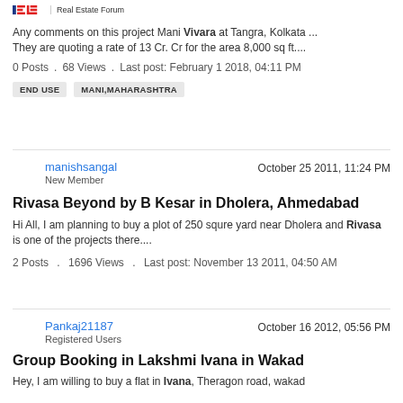IREF | Real Estate Forum
Any comments on this project Mani Vivara at Tangra, Kolkata ... They are quoting a rate of 13 Cr. Cr for the area 8,000 sq ft....
0 Posts . 68 Views . Last post: February 1 2018, 04:11 PM
END USE   MANI,MAHARASHTRA
manishsangal
New Member
October 25 2011, 11:24 PM
Rivasa Beyond by B Kesar in Dholera, Ahmedabad
Hi All, I am planning to buy a plot of 250 squre yard near Dholera and Rivasa is one of the projects there....
2 Posts . 1696 Views . Last post: November 13 2011, 04:50 AM
Pankaj21187
Registered Users
October 16 2012, 05:56 PM
Group Booking in Lakshmi Ivana in Wakad
Hey, I am willing to buy a flat in Ivana, Theragon road, wakad